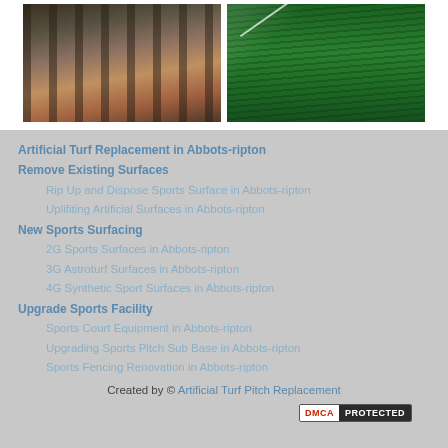[Figure (photo): Photo of rolled-up rubber turf material stacked on a red/pink surface, viewed from ground level]
[Figure (photo): Photo of green artificial turf pitch with white line markings visible]
Artificial Turf Replacement in Abbots-ripton
Remove Existing Surfaces
Rip Up and Dispose Sports Surface in Abbots-ripton
Uplifiting Artificial Surfaces in Abbots-ripton
New Sports Surfacing
2G Sports Surfaces in Abbots-ripton
3G Astroturf Surfaces in Abbots-ripton
4G Synthetic Sport Surfaces in Abbots-ripton
Upgrade Sports Facility
Sports Court Equipment in Abbots-ripton
Upgrading Sports Pitch Sub Base in Abbots-ripton
Sports Fencing Renovation in Abbots-ripton
Created by © Artificial Turf Pitch Replacement